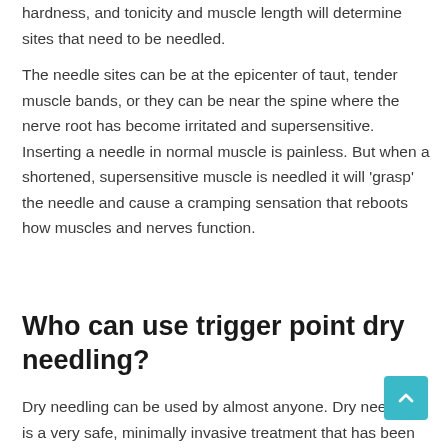hardness, and tonicity and muscle length will determine sites that need to be needled.
The needle sites can be at the epicenter of taut, tender muscle bands, or they can be near the spine where the nerve root has become irritated and supersensitive. Inserting a needle in normal muscle is painless. But when a shortened, supersensitive muscle is needled it will 'grasp' the needle and cause a cramping sensation that reboots how muscles and nerves function.
Who can use trigger point dry needling?
Dry needling can be used by almost anyone. Dry needling is a very safe, minimally invasive treatment that has been